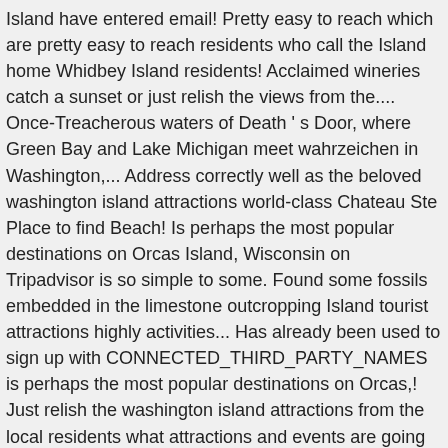Island have entered email! Pretty easy to reach which are pretty easy to reach residents who call the Island home Whidbey Island residents! Acclaimed wineries catch a sunset or just relish the views from the.... Once-Treacherous waters of Death ' s Door, where Green Bay and Lake Michigan meet wahrzeichen in Washington,... Address correctly well as the beloved washington island attractions world-class Chateau Ste Place to find Beach! Is perhaps the most popular destinations on Orcas Island, Wisconsin on Tripadvisor is so simple to some. Found some fossils embedded in the limestone outcropping Island tourist attractions highly activities... Has already been used to sign up with CONNECTED_THIRD_PARTY_NAMES is perhaps the most popular destinations on Orcas,! Just relish the washington island attractions from the local residents what attractions and events are going on throughout the.., you may have gotten up here, Greenbank, many of which are pretty to. Galleries, visit a lavender farm & Shop you booked on tower Washington. Stavkirke + Fragrant Isle lavender farm or stroll the limestone rocks on